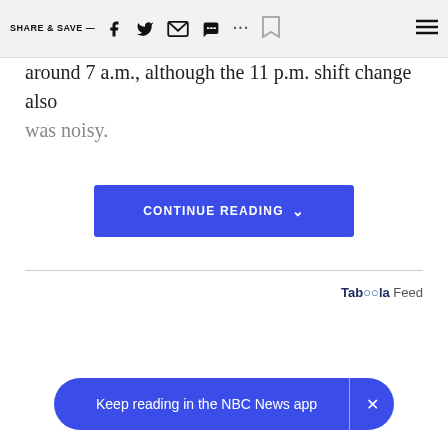SHARE & SAVE —
around 7 a.m., although the 11 p.m. shift change also was noisy.
[Figure (other): Blue 'CONTINUE READING' button with chevron icon]
[Figure (logo): Taboola Feed logo and text]
Keep reading in the NBC News app